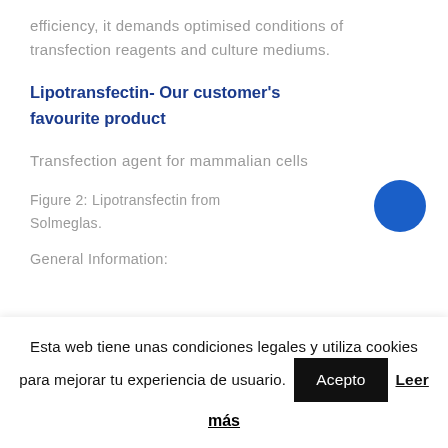efficiency, it demands optimised conditions of transfection reagents and culture mediums.
Lipotransfectin- Our customer's favourite product
Transfection agent for mammalian cells
Figure 2: Lipotransfectin from Solmeglas.
General Information:
Esta web tiene unas condiciones legales y utiliza cookies para mejorar tu experiencia de usuario. Acepto Leer más